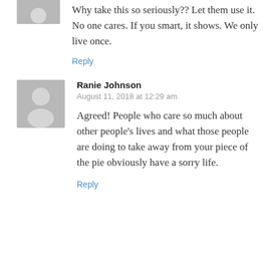[Figure (illustration): Partial grey avatar icon (top portion visible) for an anonymous commenter]
Why take this so seriously?? Let them use it. No one cares. If you smart, it shows. We only live once.
Reply
[Figure (illustration): Grey avatar icon for Ranie Johnson]
Ranie Johnson
August 11, 2018 at 12:29 am
Agreed! People who care so much about other people's lives and what those people are doing to take away from your piece of the pie obviously have a sorry life.
Reply